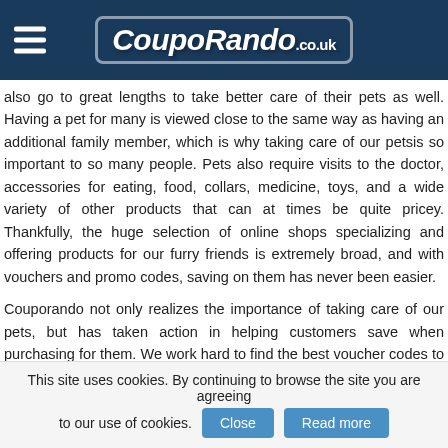[Figure (logo): CoupoRando.co.uk logo with hamburger menu on dark blue header background]
also go to great lengths to take better care of their pets as well. Having a pet for many is viewed close to the same way as having an additional family member, which is why taking care of our petsis so important to so many people. Pets also require visits to the doctor, accessories for eating, food, collars, medicine, toys, and a wide variety of other products that can at times be quite pricey. Thankfully, the huge selection of online shops specializing and offering products for our furry friends is extremely broad, and with vouchers and promo codes, saving on them has never been easier.
Couporando not only realizes the importance of taking care of our pets, but has taken action in helping customers save when purchasing for them. We work hard to find the best voucher codes to help you save on buying for pets, and lay them out in a way that makes it easy to finding the best promo code for your personal needs. Regardless of whether you have cats or dogs, lizards or snakes, or birds or spiders, promotional codes can help you to get the best possible prices. Shoppers now have the option online of ordering food in bulk ,
This site uses cookies. By continuing to browse the site you are agreeing to our use of cookies.